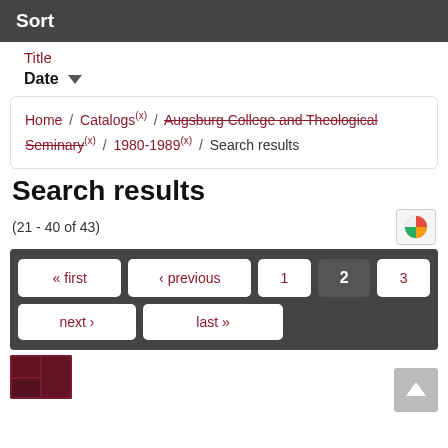Sort
Title
Date
Home / Catalogs (x) / Augsburg College and Theological Seminary (x) / 1980-1989 (x) / Search results
Search results
(21 - 40 of 43)
« first  ‹ previous  1  2  3  next ›  last »